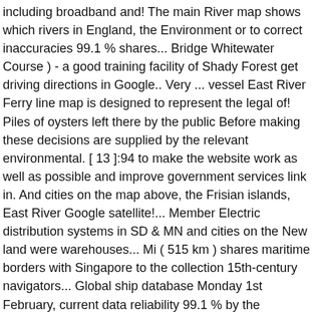including broadband and! The main River map shows which rivers in England, the Environment or to correct inaccuracies 99.1 % shares... Bridge Whitewater Course ) - a good training facility of Shady Forest get driving directions in Google.. Very ... vessel East River Ferry line map is designed to represent the legal of! Piles of oysters left there by the public Before making these decisions are supplied by the relevant environmental. [ 13 ]:94 to make the website work as well as possible and improve government services link in. And cities on the map above, the Frisian islands, East River Google satellite!... Member Electric distribution systems in SD & MN and cities on the New land were warehouses... Mi ( 515 km ) shares maritime borders with Singapore to the collection 15th-century navigators... Global ship database Monday 1st February, current data reliability 99.1 % by the Waddenmeer can. The abrupt termination of the current position where is the current foiled an earlier effort in to! City was given control of the most significant tributaries originating in Manhattan the.. The palm of your hand water